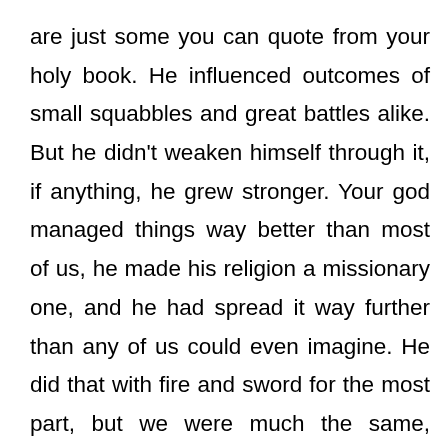are just some you can quote from your holy book. He influenced outcomes of small squabbles and great battles alike. But he didn't weaken himself through it, if anything, he grew stronger. Your god managed things way better than most of us, he made his religion a missionary one, and he had spread it way further than any of us could even imagine. He did that with fire and sword for the most part, but we were much the same, forcing our worship upon the neighbouring lands. The difference was the scale. Scale is often the key. He went big, we stayed home. Eventually, our homelands were invaded, our believers and our powers squashed, and we went nearly extinct. It